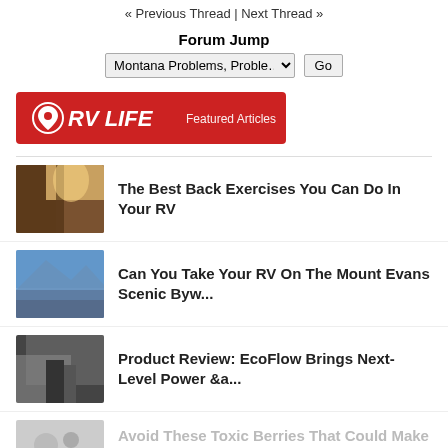« Previous Thread | Next Thread »
Forum Jump
Montana Problems, Proble… [Go]
[Figure (logo): RV LIFE Featured Articles banner logo in red]
The Best Back Exercises You Can Do In Your RV
Can You Take Your RV On The Mount Evans Scenic Byw...
Product Review: EcoFlow Brings Next-Level Power &a...
Avoid These Toxic Berries That Could Make You Sick